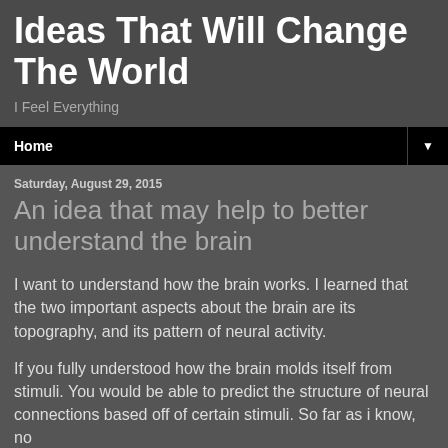Ideas That Will Change The World
I Feel Everything
Home ▼
Saturday, August 29, 2015
An idea that may help to better understand the brain
I want to understand how the brain works. I learned that the two important aspects about the brain are its topography, and its pattern of neural activity.
If you fully understood how the brain molds itself from stimuli. You would be able to predict the structure of neural connections based off of certain stimuli. So far as i know, no